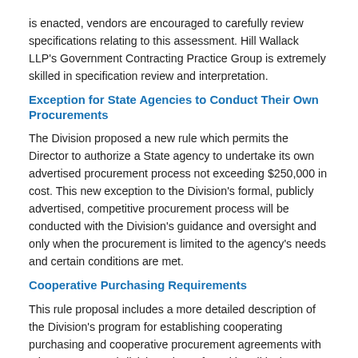is enacted, vendors are encouraged to carefully review specifications relating to this assessment. Hill Wallack LLP's Government Contracting Practice Group is extremely skilled in specification review and interpretation.
Exception for State Agencies to Conduct Their Own Procurements
The Division proposed a new rule which permits the Director to authorize a State agency to undertake its own advertised procurement process not exceeding $250,000 in cost. This new exception to the Division's formal, publicly advertised, competitive procurement process will be conducted with the Division's guidance and oversight and only when the procurement is limited to the agency's needs and certain conditions are met.
Cooperative Purchasing Requirements
This rule proposal includes a more detailed description of the Division's program for establishing cooperating purchasing and cooperative procurement agreements with other states or subdivisions thereof or with political subdivisions of the State or with nationally recognized contracting entities.
The new rules provide that the Director may enter into a cooperative purchasing agreement prior to, during or after an advertised competitive